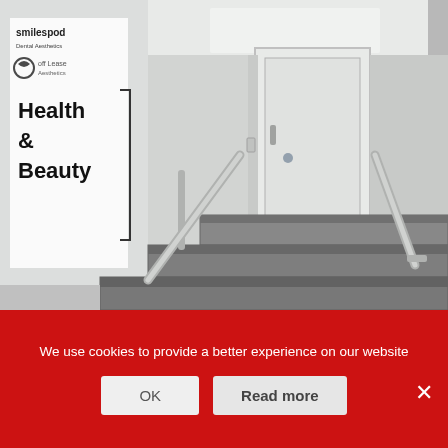[Figure (photo): Interior photo of a building stairwell with grey stone steps and metal handrails leading up to a white door. On the left wall is a sign panel showing 'smilespod' branding, a logo, and 'Health & Beauty' text with a bracket. The walls and ceiling are white/light grey.]
We use cookies to provide a better experience on our website
OK
Read more